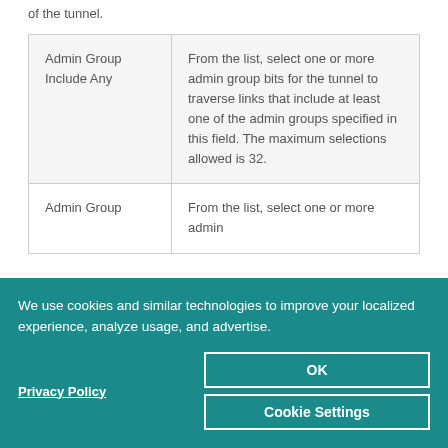of the tunnel.
| Field | Description |
| --- | --- |
| Admin Group Include Any | From the list, select one or more admin group bits for the tunnel to traverse links that include at least one of the admin groups specified in this field. The maximum selections allowed is 32. |
| Admin Group... | From the list, select one or more admin... |
We use cookies and similar technologies to improve your localized experience, analyze usage, and advertise.
Privacy Policy
OK
Cookie Settings